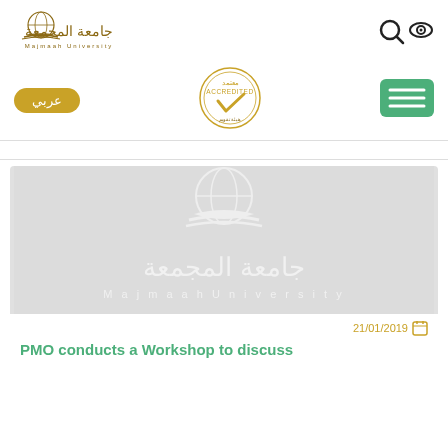[Figure (logo): Majmaah University logo with Arabic text جامعة المجمعة and English text Majmaah University, with a book and globe emblem]
[Figure (other): Search icon and eye/accessibility icon in top right header]
عربي
[Figure (logo): Accredited badge/seal with Arabic معتمد and English ACCREDITED text with a checkmark]
[Figure (other): Green hamburger menu button with three horizontal lines]
breadcrumb navigation bar
[Figure (logo): Majmaah University watermark logo placeholder image - light grey background with white university logo emblem and Arabic/English text جامعة المجمعة / Majmaah University]
21/01/2019
PMO conducts a Workshop to discuss